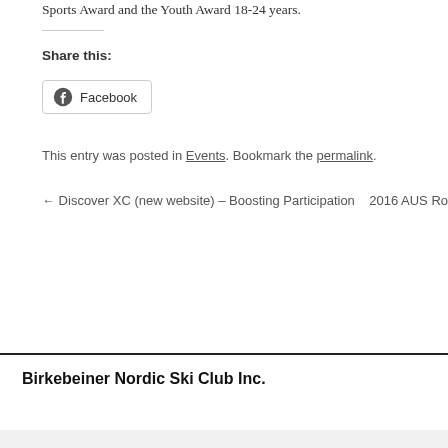Sports Award and the Youth Award 18-24 years.
Share this:
[Figure (other): Facebook share button with Facebook icon]
This entry was posted in Events. Bookmark the permalink.
← Discover XC (new website) – Boosting Participation   2016 AUS Ro
Birkebeiner Nordic Ski Club Inc.